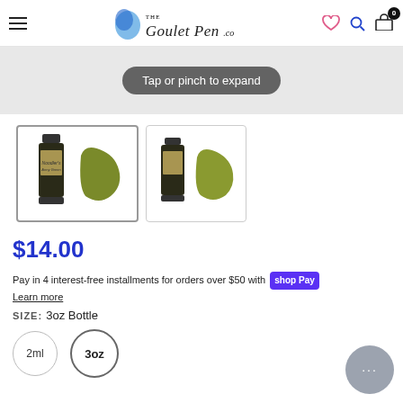The Goulet Pen Co. — navigation header with hamburger menu, logo, heart, search, and cart (0 items)
[Figure (screenshot): Expand overlay bar showing 'Tap or pinch to expand' pill button over product image]
[Figure (photo): Two thumbnail images of Noodler's Army Green ink bottle and ink swatch, first thumbnail selected with border]
$14.00
Pay in 4 interest-free installments for orders over $50 with Shop Pay
Learn more
SIZE: 3oz Bottle
2ml  3oz